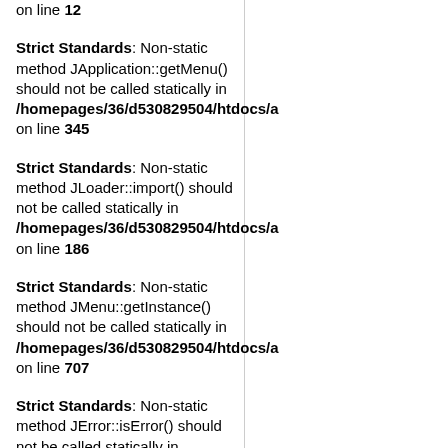on line 12
Strict Standards: Non-static method JApplication::getMenu() should not be called statically in /homepages/36/d530829504/htdocs/a on line 345
Strict Standards: Non-static method JLoader::import() should not be called statically in /homepages/36/d530829504/htdocs/a on line 186
Strict Standards: Non-static method JMenu::getInstance() should not be called statically in /homepages/36/d530829504/htdocs/a on line 707
Strict Standards: Non-static method JError::isError() should not be called statically in /homepages/36/d530829504/htdocs/a on line 708
Strict Standards: Non-static method JFactory::getUser() should not be called statically in